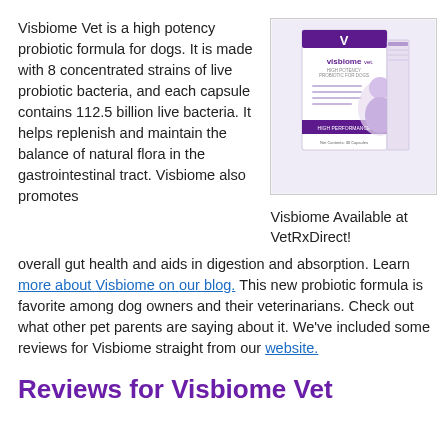Visbiome Vet is a high potency probiotic formula for dogs. It is made with 8 concentrated strains of live probiotic bacteria, and each capsule contains 112.5 billion live bacteria. It helps replenish and maintain the balance of natural flora in the gastrointestinal tract. Visbiome also promotes overall gut health and aids in digestion and absorption. Learn more about Visbiome on our blog. This new probiotic formula is favorite among dog owners and their veterinarians. Check out what other pet parents are saying about it. We've included some reviews for Visbiome straight from our website.
[Figure (photo): Product box of Visbiome Vet high potency probiotic for dogs, showing the purple branded packaging with a dog image.]
Visbiome Available at VetRxDirect!
Reviews for Visbiome Vet